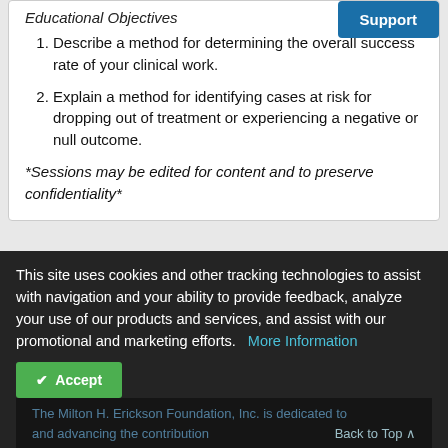Educational Objectives
[Figure (other): Blue Support button]
Describe a method for determining the overall success rate of your clinical work.
Explain a method for identifying cases at risk for dropping out of treatment or experiencing a negative or null outcome.
*Sessions may be edited for content and to preserve confidentiality*
This site uses cookies and other tracking technologies to assist with navigation and your ability to provide feedback, analyze your use of our products and services, and assist with our promotional and marketing efforts.
More Information
Accept
The Milton H. Erickson Foundation, Inc. is dedicated to and advancing the contribution Back to Top by the late Milton H. Erickson, M.D.